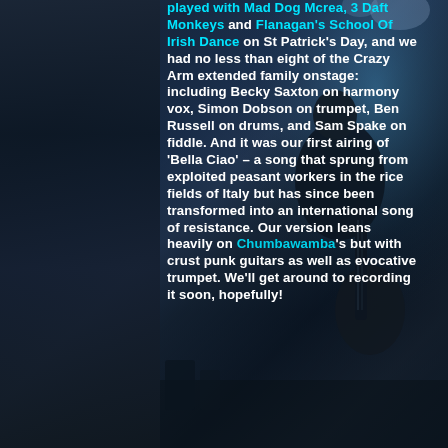[Figure (photo): Concert photo showing a guitarist from behind on stage with blue stage lighting. A semi-transparent dark overlay covers the left portion. The background shows stage equipment and lighting.]
played with Mad Dog Mcrea, 3 Daft Monkeys and Flanagan's School Of Irish Dance on St Patrick's Day, and we had no less than eight of the Crazy Arm extended family onstage: including Becky Saxton on harmony vox, Simon Dobson on trumpet, Ben Russell on drums, and Sam Spake on fiddle. And it was our first airing of 'Bella Ciao' – a song that sprung from exploited peasant workers in the rice fields of Italy but has since been transformed into an international song of resistance. Our version leans heavily on Chumbawamba's but with crust punk guitars as well as evocative trumpet. We'll get around to recording it soon, hopefully!